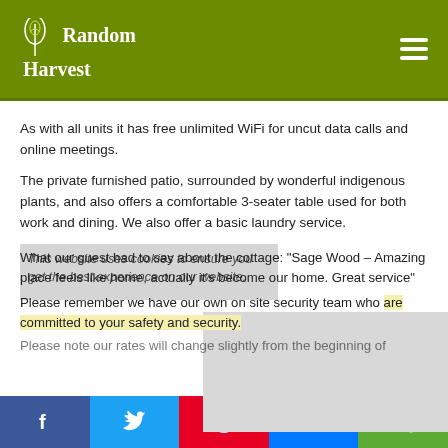Random Harvest
As with all units it has free unlimited WiFi for uncut data calls and online meetings.
The private furnished patio, surrounded by wonderful indigenous plants, and also offers a comfortable 3-seater table used for both work and dining. We also offer a basic laundry service.
What our guest had to say about the cottage: "Sage Wood – Amazing place feels like home, actually it's become our home. Great service"
Please remember we have our own on site security team who are committed to your safety and security.
Please note our rates will change slightly from the beginning of